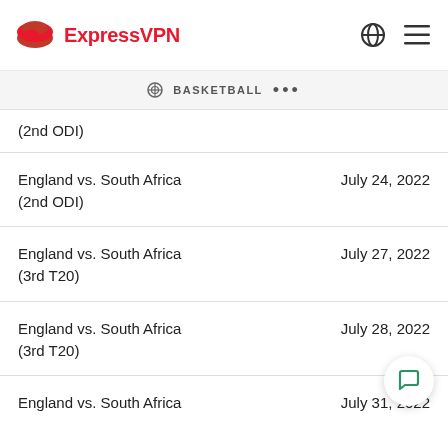ExpressVPN
BASKETBALL ...
(2nd ODI)   July [date]
England vs. South Africa (2nd ODI)   July 24, 2022
England vs. South Africa (3rd T20)   July 27, 2022
England vs. South Africa (3rd T20)   July 28, 2022
England vs. South Africa   July 31, 2022